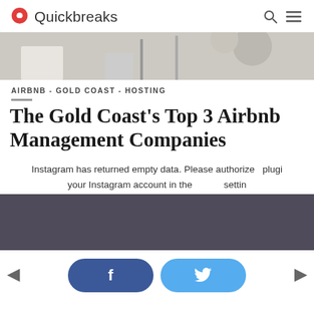Quickbreaks
[Figure (photo): Partial view of a room interior, light tones, chairs and furniture visible]
AIRBNB - GOLD COAST - HOSTING
The Gold Coast's Top 3 Airbnb Management Companies
Instagram has returned empty data. Please authorize plugin your Instagram account in the settin
[Figure (other): Dark grey/purple block area]
f (Facebook share button) and Twitter bird icon (Twitter share button), left arrow navigation, right arrow navigation